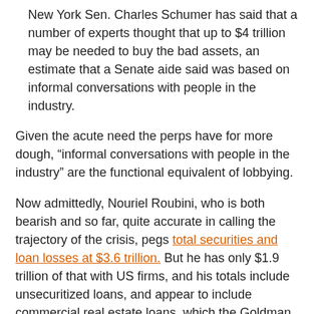New York Sen. Charles Schumer has said that a number of experts thought that up to $4 trillion may be needed to buy the bad assets, an estimate that a Senate aide said was based on informal conversations with people in the industry.
Given the acute need the perps have for more dough, “informal conversations with people in the industry” are the functional equivalent of lobbying.
Now admittedly, Nouriel Roubini, who is both bearish and so far, quite accurate in calling the trajectory of the crisis, pegs total securities and loan losses at $3.6 trillion. But he has only $1.9 trillion of that with US firms, and his totals include unsecuritized loans, and appear to include commercial real estate loans, which the Goldman note excluded.
I’d love to know how anyone can defend a number more than twice as grim as Roubini’s.
And even if one were to believe the Goldman figure, there is a practical problem: no way, no how is that much money going to be spent. We will limp along with a Japan style partial remedies. The US public will not stomach that level of spending on banksters in the absence of substantial